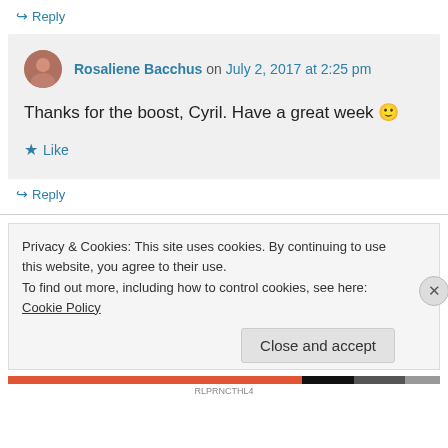↪ Reply
Rosaliene Bacchus on July 2, 2017 at 2:25 pm
Thanks for the boost, Cyril. Have a great week 🙂
★ Like
↪ Reply
Privacy & Cookies: This site uses cookies. By continuing to use this website, you agree to their use.
To find out more, including how to control cookies, see here: Cookie Policy
Close and accept